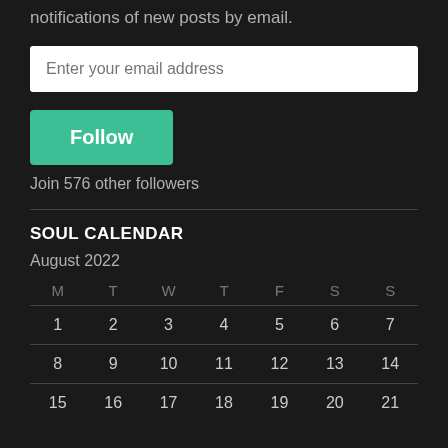notifications of new posts by email.
Enter your email address
Follow
Join 576 other followers
SOUL CALENDAR
August 2022
| M | T | W | T | F | S | S |
| --- | --- | --- | --- | --- | --- | --- |
| 1 | 2 | 3 | 4 | 5 | 6 | 7 |
| 8 | 9 | 10 | 11 | 12 | 13 | 14 |
| 15 | 16 | 17 | 18 | 19 | 20 | 21 |